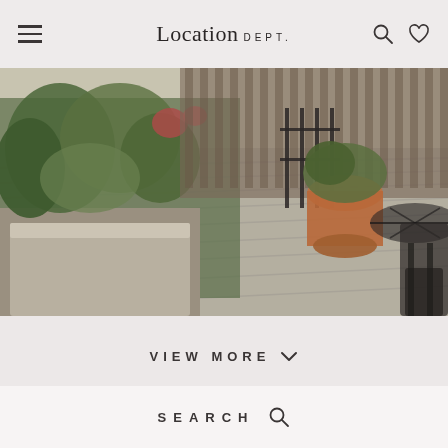Location DEPT.
[Figure (photo): Outdoor wooden deck with raised planter boxes filled with lush green plants and flowers, iron railing gate in background, and wrought iron patio table and chairs on the right side]
VIEW MORE
SAVE LOCATION
SEARCH